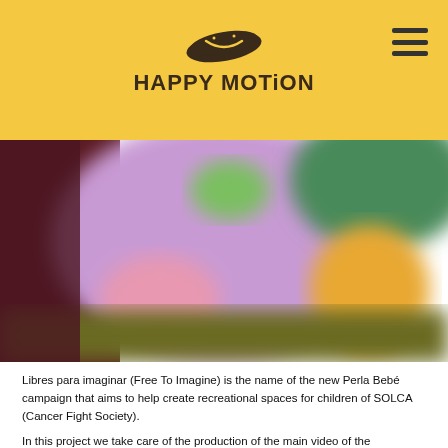[Figure (logo): Happy Motion logo with a cartoon worm/bean shape above stylized bold text reading 'HAPPY MOTION']
[Figure (photo): Blurred colorful animation still showing soft pastel characters — purple, yellow, green, dark red — from the Perla Bebé SOLCA campaign animation]
Libres para imaginar (Free To Imagine) is the name of the new Perla Bebé campaign that aims to help create recreational spaces for children of SOLCA (Cancer Fight Society).
In this project we take care of the production of the main video of the campaign. It was a challenge at a technical level, because we had to use the different drawings that the children of SOLCA made of the characters of Pearl Baby, to re-interpret them and adapt them in the animation frame